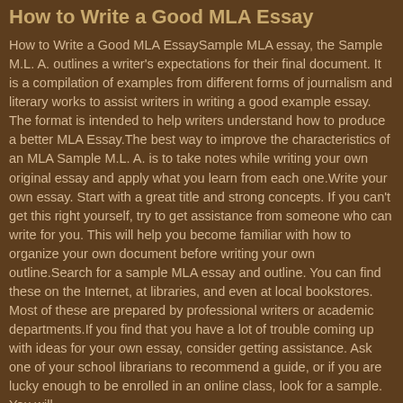How to Write a Good MLA Essay
How to Write a Good MLA EssaySample MLA essay, the Sample M.L. A. outlines a writer's expectations for their final document. It is a compilation of examples from different forms of journalism and literary works to assist writers in writing a good example essay. The format is intended to help writers understand how to produce a better MLA Essay.The best way to improve the characteristics of an MLA Sample M.L. A. is to take notes while writing your own original essay and apply what you learn from each one.Write your own essay. Start with a great title and strong concepts. If you can't get this right yourself, try to get assistance from someone who can write for you. This will help you become familiar with how to organize your own document before writing your own outline.Search for a sample MLA essay and outline. You can find these on the Internet, at libraries, and even at local bookstores. Most of these are prepared by professional writers or academic departments.If you find that you have a lot of trouble coming up with ideas for your own essay, consider getting assistance. Ask one of your school librarians to recommend a guide, or if you are lucky enough to be enrolled in an online class, look for a sample. You will